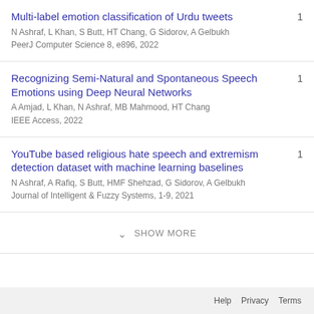Multi-label emotion classification of Urdu tweets
N Ashraf, L Khan, S Butt, HT Chang, G Sidorov, A Gelbukh
PeerJ Computer Science 8, e896, 2022
1
Recognizing Semi-Natural and Spontaneous Speech Emotions using Deep Neural Networks
A Amjad, L Khan, N Ashraf, MB Mahmood, HT Chang
IEEE Access, 2022
1
YouTube based religious hate speech and extremism detection dataset with machine learning baselines
N Ashraf, A Rafiq, S Butt, HMF Shehzad, G Sidorov, A Gelbukh
Journal of Intelligent & Fuzzy Systems, 1-9, 2021
1
SHOW MORE
Help   Privacy   Terms